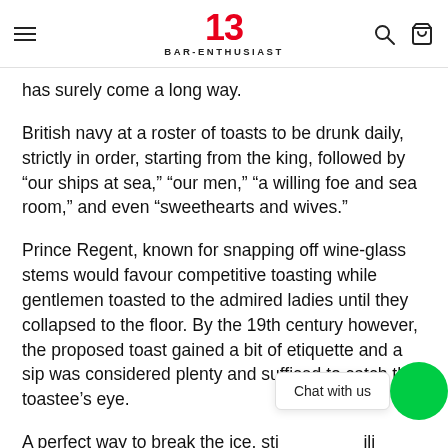BAR-ENTHUSIAST
has surely come a long way.
British navy at a roster of toasts to be drunk daily, strictly in order, starting from the king, followed by “our ships at sea,” “our men,” “a willing foe and sea room,” and even “sweethearts and wives.”
Prince Regent, known for snapping off wine-glass stems would favour competitive toasting while gentlemen toasted to the admired ladies until they collapsed to the floor. By the 19th century however, the proposed toast gained a bit of etiquette and a sip was considered plenty and sufficed to catch the toastee’s eye.
A perfect way to break the ice, stir goodwill and convey mutual affection, toasts have been a symbol of uplifting sentiments and celebration of life.